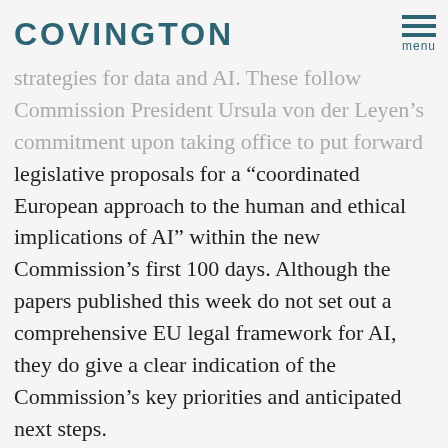COVINGTON | menu
strategies for data and AI.  These follow Commission President Ursula von der Leyen's commitment upon taking office to put forward legislative proposals for a “coordinated European approach to the human and ethical implications of AI” within the new Commission’s first 100 days.  Although the papers published this week do not set out a comprehensive EU legal framework for AI, they do give a clear indication of the Commission’s key priorities and anticipated next steps.
The Commission strategies are set out in four separate papers—two on AI, and one each on Europe’s digital future and the data economy.  Read together, it is clear that the Commission seeks to position the EU as a digital leader, both